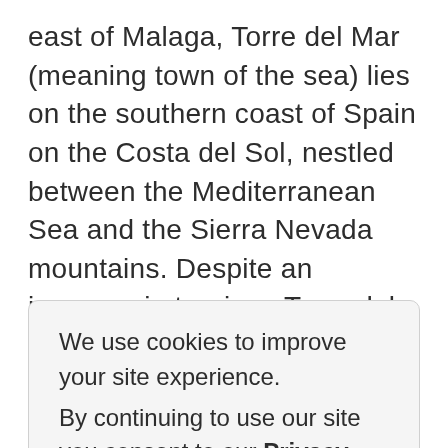east of Malaga, Torre del Mar (meaning town of the sea) lies on the southern coast of Spain on the Costa del Sol, nestled between the Mediterranean Sea and the Sierra Nevada mountains. Despite an increase in tourism, Torre del Mar has still retained much of its authentic Spanish charm, boasting excellent seafood restaurants and an iconic 18th century lighthouse overlooking its long seafront promenade that stretches from the coast to the Marina of Caleta de Velez. Torre del Mar beach
We use cookies to improve your site experience.
By continuing to use our site you consent to our Privacy and Cookie Policy.
Accept
Sun and Avacado, surrounded by crops, mountains